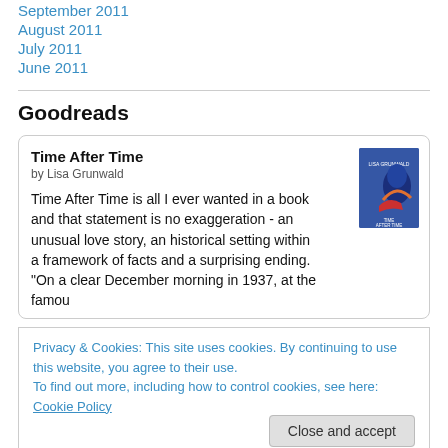September 2011
August 2011
July 2011
June 2011
Goodreads
Time After Time
by Lisa Grunwald
Time After Time is all I ever wanted in a book and that statement is no exaggeration - an unusual love story, an historical setting within a framework of facts and a surprising ending. “On a clear December morning in 1937, at the famou
Privacy & Cookies: This site uses cookies. By continuing to use this website, you agree to their use.
To find out more, including how to control cookies, see here: Cookie Policy
Close and accept
Dymphna Cusack, Florence James and Miles Fr...